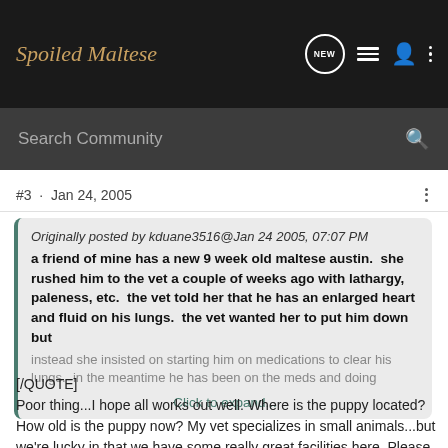Spoiled Maltese
Search Community
#3 · Jan 24, 2005
Originally posted by kduane3516@Jan 24 2005, 07:07 PM
a friend of mine has a new 9 week old maltese austin.  she rushed him to the vet a couple of weeks ago with lathargy, paleness, etc.  the vet told her that he has an enlarged heart and fluid on his lungs.  the vet wanted her to put him down but instead she insisted on starting him on medications to clear his lungs.  in the meantime he has been on the meds and doing
Click to expand...
[/QUOTE]
Poor thing...I hope all works out well. Where is the puppy located? How old is the puppy now? My vet specializes in small animals...but we're lucky in that we have some really great facilities here. Please keep us posted on his prognosis.